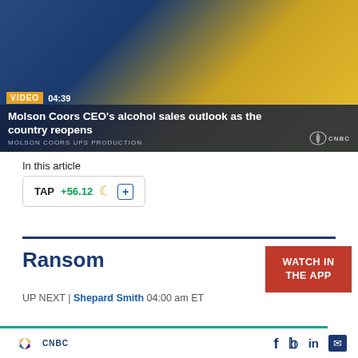[Figure (screenshot): CNBC video thumbnail showing a man in a blue shirt, with a Hard Seltzer product visible, video duration 04:39 shown, and overlay text about Molson Coors CEO alcohol sales outlook]
Molson Coors CEO's alcohol sales outlook as the country reopens
In this article
TAP +56.12 [moon icon] [+]
Ransom
WATCH IN THE APP
UP NEXT | Shepard Smith 04:00 am ET
[Figure (logo): CNBC peacock logo with social media icons for Facebook, Twitter, LinkedIn, and Email]